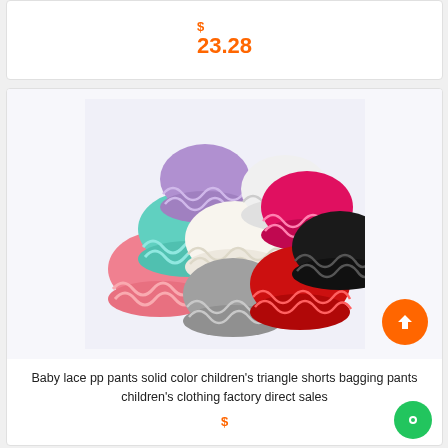$ 23.28
[Figure (photo): Multiple baby lace ruffle bloomers/pp pants in various colors arranged in a fan/circle pattern on a light purple background. Colors include pink, teal/mint, purple, white/cream, gray, red, hot pink, black, and white. The bloomers have ruffled lace trim.]
Baby lace pp pants solid color children's triangle shorts bagging pants children's clothing factory direct sales
$